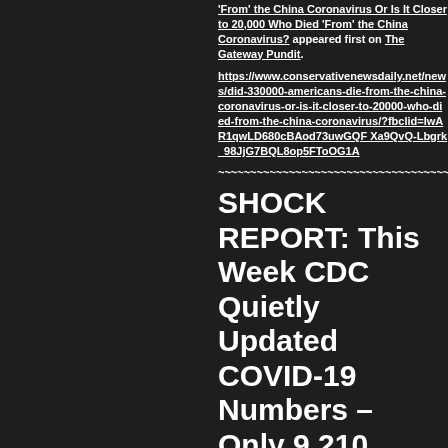'From' the China Coronavirus Or Is It Closer to 20,000 Who Died 'From' the China Coronavirus? appeared first on The Gateway Pundit.
https://www.conservativenewsdaily.net/news/did-330000-americans-die-from-the-china-coronavirus-or-is-it-closer-to-20000-who-died-from-the-china-coronavirus/?fbclid=IwAR1qwLD680cBAod73uwGQFXa9QvQ-Lbgrk_98JjG7BQL8op5FToOG1A
~~~~~~~~~~~~~~~~~~~~~~~~~~~~~~~~~~~~~~~~~~~~~~~~
SHOCK REPORT: This Week CDC Quietly Updated COVID-19 Numbers – Only 9,210 Americans Died From COVID-19